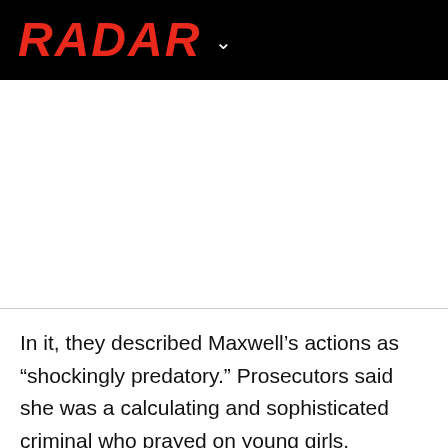RADAR
In it, they described Maxwell’s actions as “shockingly predatory.” Prosecutors said she was a calculating and sophisticated criminal who prayed on young girls. Maxwell groomed the victims for sexual abuse as second-in-